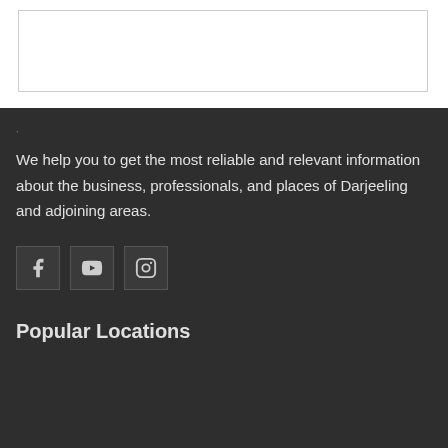[Figure (other): White top section with a bordered rectangle/box outline]
We help you to get the most reliable and relevant information about the business, professionals, and places of Darjeeling and adjoining areas.
[Figure (other): Social media icons: Facebook, YouTube, Instagram]
Popular Locations